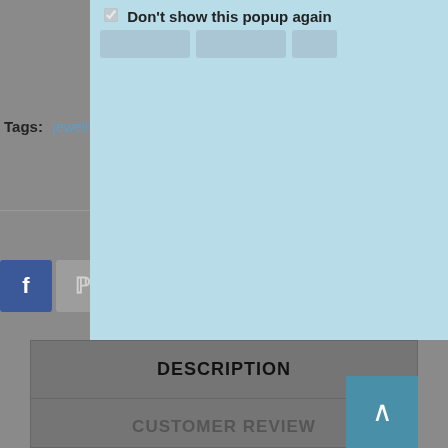☑ Don't show this popup again
Tags: jewelry-watches, women-rings
DESCRIPTION
CUSTOMER REVIEW
A larger princess-cut diamond is flanked by two smaller square diamonds. Ten brilliant-cut diamonds make a sleek channel-set row on sides. Made in 18K white gold this engagement ring has a total weight (TDW) of 1.00 ct.